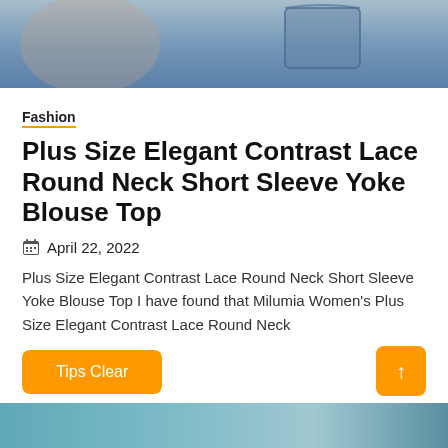[Figure (photo): Cropped photo of a person wearing blue denim jeans with a front pocket visible]
Fashion
Plus Size Elegant Contrast Lace Round Neck Short Sleeve Yoke Blouse Top
April 22, 2022
Plus Size Elegant Contrast Lace Round Neck Short Sleeve Yoke Blouse Top I have found that Milumia Women's Plus Size Elegant Contrast Lace Round Neck
[Figure (other): Tips Clear orange button]
[Figure (other): Back to top orange arrow button]
[Figure (photo): Partial bottom image, appears to be another clothing photo]